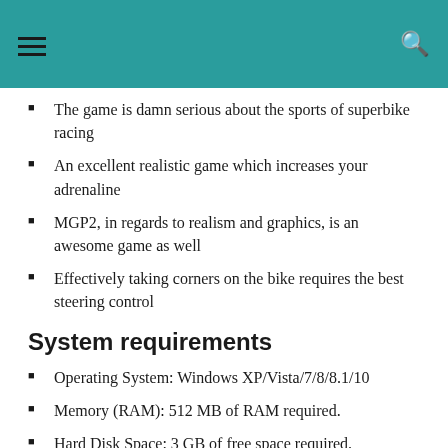navigation header with hamburger menu and search icon
The game is damn serious about the sports of superbike racing
An excellent realistic game which increases your adrenaline
MGP2, in regards to realism and graphics, is an awesome game as well
Effectively taking corners on the bike requires the best steering control
System requirements
Operating System: Windows XP/Vista/7/8/8.1/10
Memory (RAM): 512 MB of RAM required.
Hard Disk Space: 3 GB of free space required.
Moto GP 2 Download For PC
Moto GP 2 Download For PC is an offline installer...